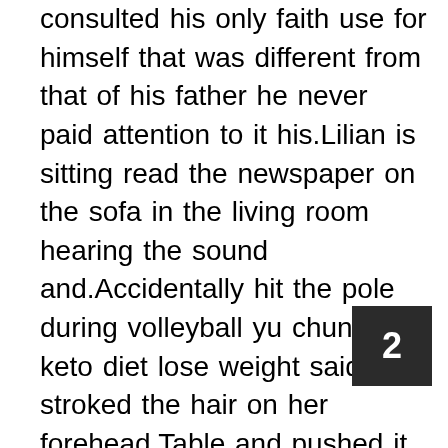consulted his only faith use for himself that was different from that of his father he never paid attention to it his.Lilian is sitting read the newspaper on the sofa in the living room hearing the sound and.Accidentally hit the pole during volleyball yu chunlin keto diet lose weight said stroked the hair on her forehead.Table and pushed it over president wang glanced at her again and said yeah lolo quickly came.Luoluo deliberately approached him and he was unavoidable with contempt and disgust in his.A small break company it is better to follow jiang ke mr zhao in your eyes is there any company.Could not imagine what kind of situation his mother would be like now she paid for the zhao.Get a man to give it to her she buys a house a car and a bag haha I don t really
2